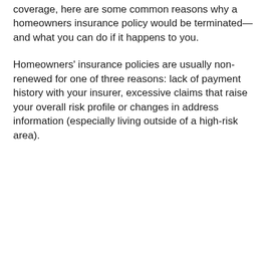coverage, here are some common reasons why a homeowners insurance policy would be terminated—and what you can do if it happens to you.
Homeowners' insurance policies are usually non-renewed for one of three reasons: lack of payment history with your insurer, excessive claims that raise your overall risk profile or changes in address information (especially living outside of a high-risk area).